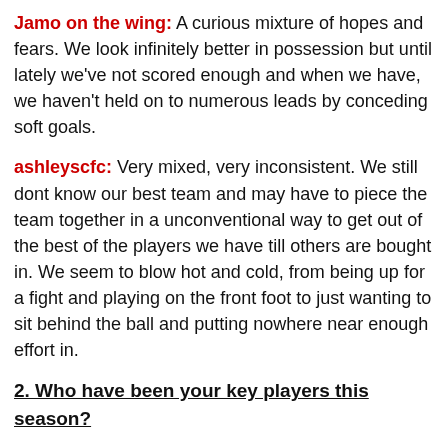Jamo on the wing: A curious mixture of hopes and fears. We look infinitely better in possession but until lately we've not scored enough and when we have, we haven't held on to numerous leads by conceding soft goals.
ashleyscfc: Very mixed, very inconsistent. We still dont know our best team and may have to piece the team together in a unconventional way to get out of the best of the players we have till others are bought in. We seem to blow hot and cold, from being up for a fight and playing on the front foot to just wanting to sit behind the ball and putting nowhere near enough effort in.
2. Who have been your key players this season?
capto: Begovic
scfcjase: Begovic, Cameron and – when he's in the right